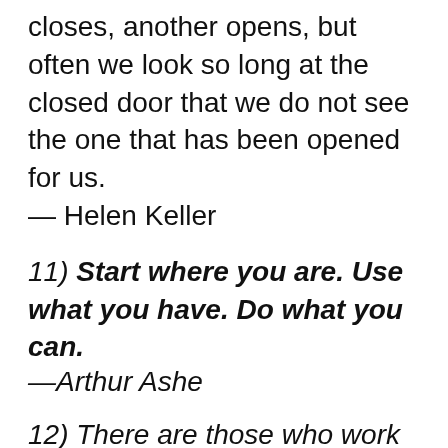10) When one door of happiness closes, another opens, but often we look so long at the closed door that we do not see the one that has been opened for us.
— Helen Keller
11) Start where you are. Use what you have. Do what you can.
—Arthur Ashe
12) There are those who work all day. Those who dream all day. And